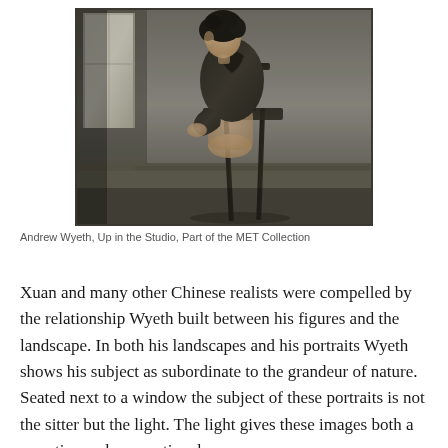[Figure (photo): Painting by Andrew Wyeth titled 'Up in the Studio'. Shows a figure with curly hair seated on a wooden chair, facing away toward a window in a sparse, dimly lit room with muted gray-brown tones.]
Andrew Wyeth, Up in the Studio, Part of the MET Collection
Xuan and many other Chinese realists were compelled by the relationship Wyeth built between his figures and the landscape. In both his landscapes and his portraits Wyeth shows his subject as subordinate to the grandeur of nature. Seated next to a window the subject of these portraits is not the sitter but the light. The light gives these images both a narrative and an emotional presence.